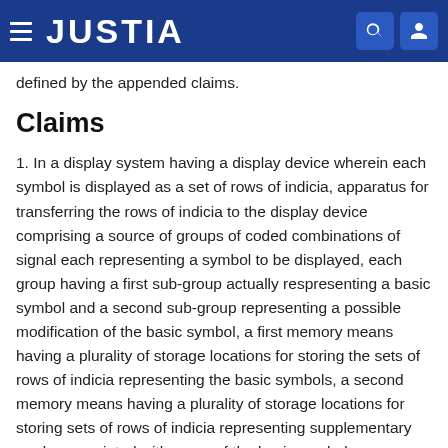JUSTIA
defined by the appended claims.
Claims
1. In a display system having a display device wherein each symbol is displayed as a set of rows of indicia, apparatus for transferring the rows of indicia to the display device comprising a source of groups of coded combinations of signal each representing a symbol to be displayed, each group having a first sub-group actually respresenting a basic symbol and a second sub-group representing a possible modification of the basic symbol, a first memory means having a plurality of storage locations for storing the sets of rows of indicia representing the basic symbols, a second memory means having a plurality of storage locations for storing sets of rows of indicia representing supplementary marks associated with some of the basic symbols